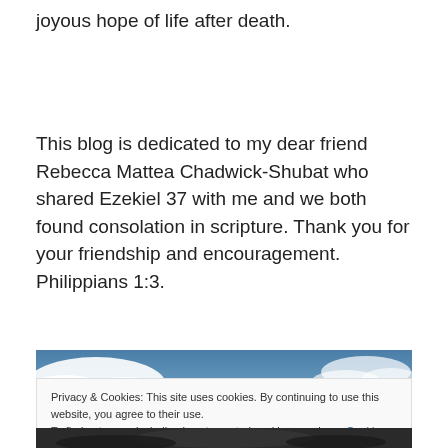joyous hope of life after death.
This blog is dedicated to my dear friend Rebecca Mattea Chadwick-Shubat who shared Ezekiel 37 with me and we both found consolation in scripture. Thank you for your friendship and encouragement. Philippians 1:3.
[Figure (photo): Blue sky with white clouds banner image]
Privacy & Cookies: This site uses cookies. By continuing to use this website, you agree to their use.
To find out more, including how to control cookies, see here: Cookie Policy
[Figure (photo): Dark landscape image at bottom]